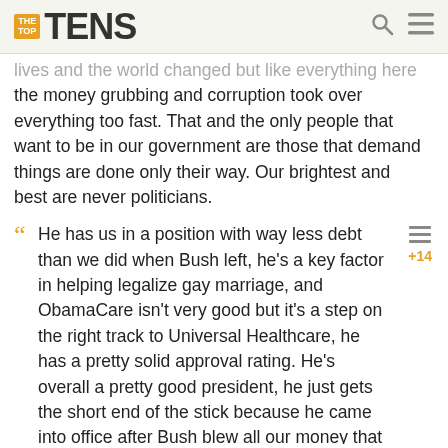THE TOP TENS
lives and the world changed but like everything here the money grubbing and corruption took over everything too fast. That and the only people that want to be in our government are those that demand things are done only their way. Our brightest and best are never politicians.
He has us in a position with way less debt than we did when Bush left, he's a key factor in helping legalize gay marriage, and ObamaCare isn't very good but it's a step on the right track to Universal Healthcare, he has a pretty solid approval rating. He's overall a pretty good president, he just gets the short end of the stick because he came into office after Bush blew all our money that Clinton had us in and left Obama with a huge stack of debt and a bunch of unnecessary troops in Iraq killing innocent Iraqis, and so now we blame him for that.
Obama has done nothing but divide the country and alter numbers to make it seem like things have